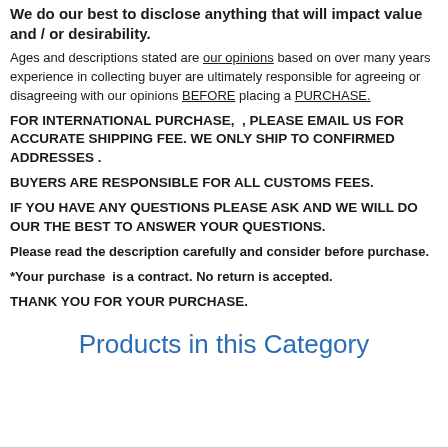We do our best to disclose anything that will impact value and / or desirability.
Ages and descriptions stated are our opinions based on over many years experience in collecting buyer are ultimately responsible for agreeing or disagreeing with our opinions BEFORE placing a PURCHASE.
FOR INTERNATIONAL PURCHASE,  , PLEASE EMAIL US FOR ACCURATE SHIPPING FEE. WE ONLY SHIP TO CONFIRMED ADDRESSES .
BUYERS ARE RESPONSIBLE FOR ALL CUSTOMS FEES.
IF YOU HAVE ANY QUESTIONS PLEASE ASK AND WE WILL DO OUR THE BEST TO ANSWER YOUR QUESTIONS.
Please read the description carefully and consider before purchase.
*Your purchase  is a contract. No return is accepted.
THANK YOU FOR YOUR PURCHASE.
Products in this Category